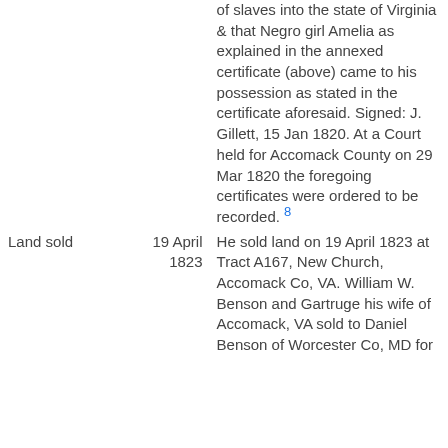of slaves into the state of Virginia & that Negro girl Amelia as explained in the annexed certificate (above) came to his possession as stated in the certificate aforesaid. Signed: J. Gillett, 15 Jan 1820. At a Court held for Accomack County on 29 Mar 1820 the foregoing certificates were ordered to be recorded. 8
Land sold
19 April 1823
He sold land on 19 April 1823 at Tract A167, New Church, Accomack Co, VA. William W. Benson and Gartruge his wife of Accomack, VA sold to Daniel Benson of Worcester Co, MD for